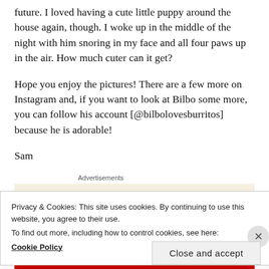future. I loved having a cute little puppy around the house again, though. I woke up in the middle of the night with him snoring in my face and all four paws up in the air. How much cuter can it get?
Hope you enjoy the pictures! There are a few more on Instagram and, if you want to look at Bilbo some more, you can follow his account [@bilbolovesburritos] because he is adorable!
Sam
Advertisements
Privacy & Cookies: This site uses cookies. By continuing to use this website, you agree to their use.
To find out more, including how to control cookies, see here:
Cookie Policy
Close and accept